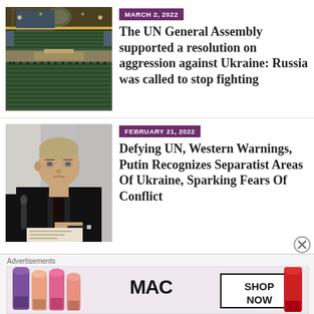MARCH 2, 2022
The UN General Assembly supported a resolution on aggression against Ukraine: Russia was called to stop fighting
[Figure (photo): Interior of the UN General Assembly hall with rows of seats and delegates]
FEBRUARY 21, 2022
Defying UN, Western Warnings, Putin Recognizes Separatist Areas Of Ukraine, Sparking Fears Of Conflict
[Figure (photo): Vladimir Putin signing a document, wearing a dark suit]
Advertisements
[Figure (photo): MAC cosmetics advertisement showing lipsticks with SHOP NOW button]